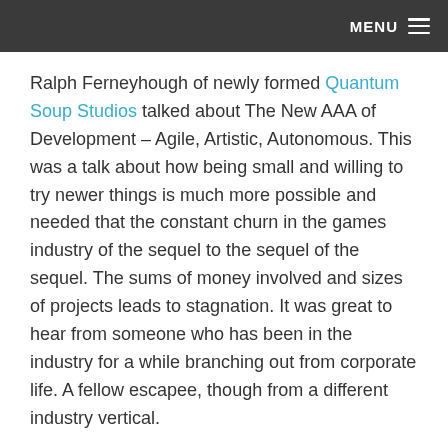MENU
Ralph Ferneyhough of newly formed Quantum Soup Studios talked about The New AAA of Development – Agile, Artistic, Autonomous. This was a talk about how being small and willing to try newer things is much more possible and needed that the constant churn in the games industry of the sequel to the sequel of the sequel. The sums of money involved and sizes of projects leads to stagnation. It was great to hear from someone who has been in the industry for a while branching out from corporate life. A fellow escapee, though from a different industry vertical.
Chris Payne of Games Dev North Wales gave the final talk on Hollywood vs VR:The Challenge Ahead. Chris works in the games industry and for several years has been a virtual camera expert. If you have tried to make cameras